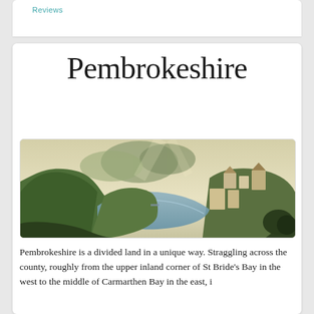Reviews
Pembrokeshire
[Figure (illustration): A painted landscape illustration showing a coastal valley with green hills, cliffs, buildings on hillside, and a body of water below, with mountains in the background and a pale sky.]
Pembrokeshire is a divided land in a unique way. Straggling across the county, roughly from the upper inland corner of St Bride's Bay in the west to the middle of Carmarthen Bay in the east, i…